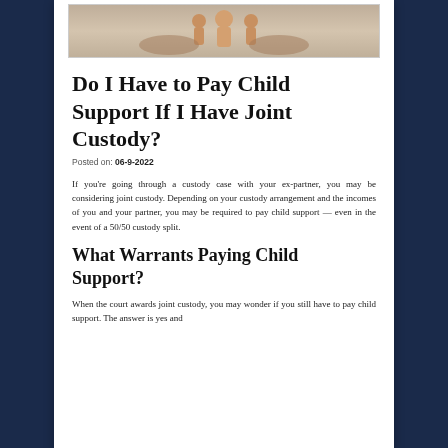[Figure (photo): Photo of hands holding small wooden family figure pieces, suggesting family/custody theme]
Do I Have to Pay Child Support If I Have Joint Custody?
Posted on: 06-9-2022
If you're going through a custody case with your ex-partner, you may be considering joint custody. Depending on your custody arrangement and the incomes of you and your partner, you may be required to pay child support — even in the event of a 50/50 custody split.
What Warrants Paying Child Support?
When the court awards joint custody, you may wonder if you still have to pay child support. The answer is yes and